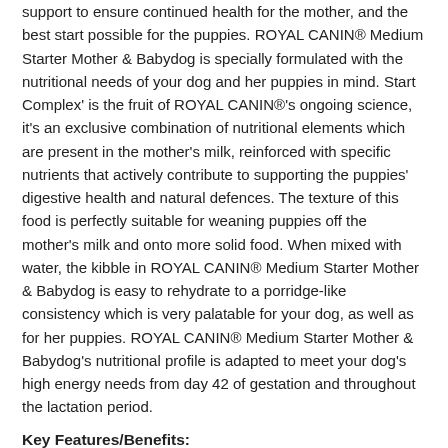support to ensure continued health for the mother, and the best start possible for the puppies. ROYAL CANIN® Medium Starter Mother & Babydog is specially formulated with the nutritional needs of your dog and her puppies in mind. Start Complex' is the fruit of ROYAL CANIN®'s ongoing science, it's an exclusive combination of nutritional elements which are present in the mother's milk, reinforced with specific nutrients that actively contribute to supporting the puppies' digestive health and natural defences. The texture of this food is perfectly suitable for weaning puppies off the mother's milk and onto more solid food. When mixed with water, the kibble in ROYAL CANIN® Medium Starter Mother & Babydog is easy to rehydrate to a porridge-like consistency which is very palatable for your dog, as well as for her puppies. ROYAL CANIN® Medium Starter Mother & Babydog's nutritional profile is adapted to meet your dog's high energy needs from day 42 of gestation and throughout the lactation period.
Key Features/Benefits:
Start complex/natural defences - digestive health
Gestation/lactation support